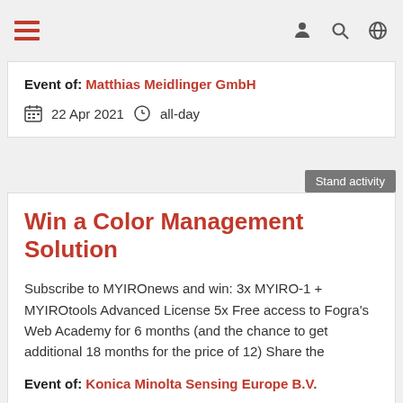Navigation bar with hamburger menu and icons
Event of: Matthias Meidlinger GmbH
22 Apr 2021   all-day
Stand activity
Win a Color Management Solution
Subscribe to MYIROnews and win: 3x MYIRO-1 + MYIROtools Advanced License 5x Free access to Fogra's Web Academy for 6 months (and the chance to get additional 18 months for the price of 12) Share the
Event of: Konica Minolta Sensing Europe B.V.
22 Apr 2021   all-day